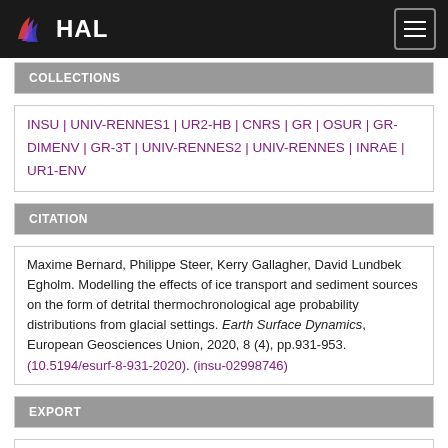HAL
COLLECTIONS
INSU | UNIV-RENNES1 | UR2-HB | CNRS | GR | OSUR | GR-DIMENV | GR-3T | UNIV-RENNES2 | UNIV-RENNES | INRAE | UR1-ENV
CITATION
Maxime Bernard, Philippe Steer, Kerry Gallagher, David Lundbek Egholm. Modelling the effects of ice transport and sediment sources on the form of detrital thermochronological age probability distributions from glacial settings. Earth Surface Dynamics, European Geosciences Union, 2020, 8 (4), pp.931-953. (10.5194/esurf-8-931-2020). (insu-02998746)
EXPORT
BibTeX
TEI
DC
DCterms
EndNote
Datacite
SHARE